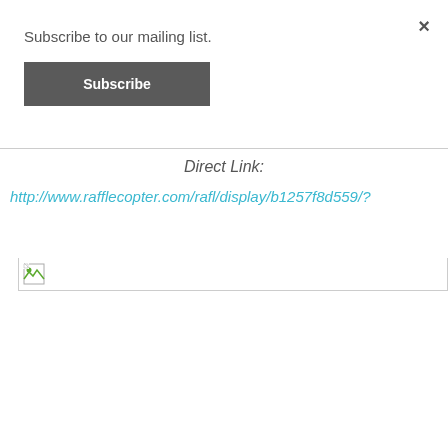×
Subscribe to our mailing list.
Subscribe
Direct Link:
http://www.rafflecopter.com/rafl/display/b1257f8d559/?
[Figure (other): Broken image placeholder with icon]